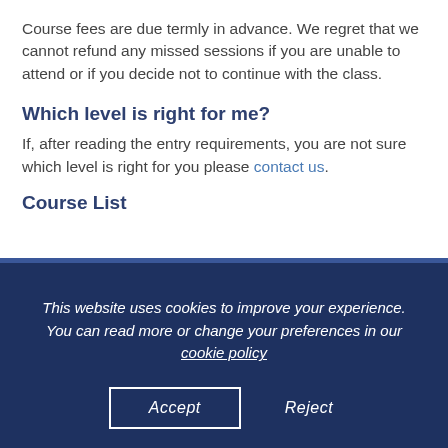Course fees are due termly in advance. We regret that we cannot refund any missed sessions if you are unable to attend or if you decide not to continue with the class.
Which level is right for me?
If, after reading the entry requirements, you are not sure which level is right for you please contact us.
Course List
This website uses cookies to improve your experience. You can read more or change your preferences in our cookie policy